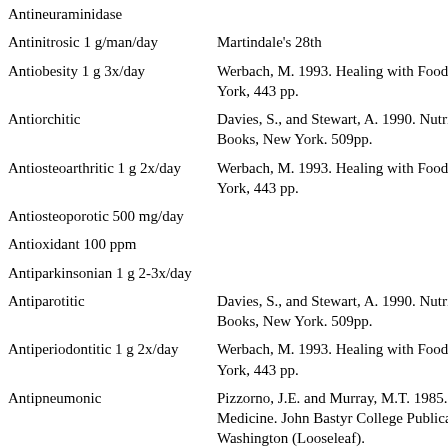| Activity/Dosage | Reference |
| --- | --- |
| Antineuraminidase |  |
| Antinitrosic 1 g/man/day | Martindale's 28th |
| Antiobesity 1 g 3x/day | Werbach, M. 1993. Healing with Food. York, 443 pp. |
| Antiorchitic | Davies, S., and Stewart, A. 1990. Nutrit Books, New York. 509pp. |
| Antiosteoarthritic 1 g 2x/day | Werbach, M. 1993. Healing with Food. York, 443 pp. |
| Antiosteoporotic 500 mg/day |  |
| Antioxidant 100 ppm |  |
| Antiparkinsonian 1 g 2-3x/day |  |
| Antiparotitic | Davies, S., and Stewart, A. 1990. Nutrit Books, New York. 509pp. |
| Antiperiodontitic 1 g 2x/day | Werbach, M. 1993. Healing with Food. York, 443 pp. |
| Antipneumonic | Pizzorno, J.E. and Murray, M.T. 1985. A Medicine. John Bastyr College Publicat Washington (Looseleaf). |
| Antipodriac | Davies, S., and Stewart, A. 1990. Nutrit Books, New York. 509pp. |
|  | Davies, S., and Stewart, A. 1990. Nutrit |